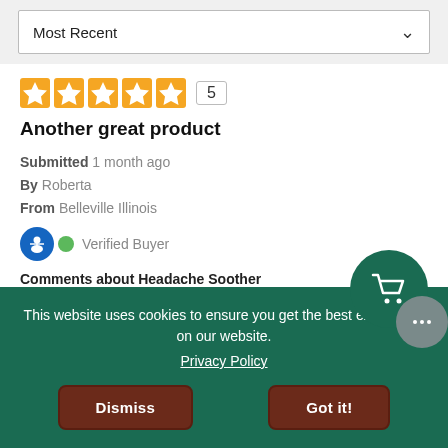Most Recent (dropdown)
[Figure (other): 5-star rating with orange star icons and count '5']
Another great product
Submitted 1 month ago
By Roberta
From Belleville Illinois
Verified Buyer
Comments about Headache Soother
Great price carry it in my purse all time will order it again
Bottom Line Yes, I would recommend to a friend
This website uses cookies to ensure you get the best experience on our website.
Privacy Policy
Dismiss
Got it!